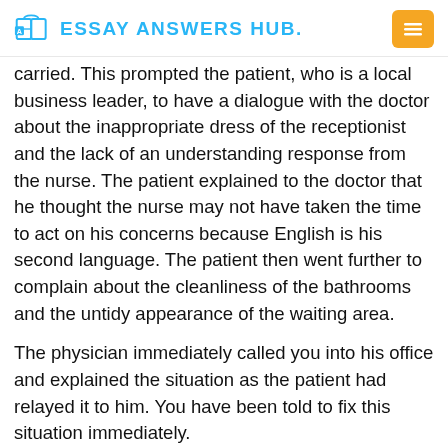Essay Answers Hub
carried. This prompted the patient, who is a local business leader, to have a dialogue with the doctor about the inappropriate dress of the receptionist and the lack of an understanding response from the nurse. The patient explained to the doctor that he thought the nurse may not have taken the time to act on his concerns because English is his second language. The patient then went further to complain about the cleanliness of the bathrooms and the untidy appearance of the waiting area.
The physician immediately called you into his office and explained the situation as the patient had relayed it to him. You have been told to fix this situation immediately.
ve decided to enforce a policy at the third location of wearing scrubs for uniformity. You realize that the